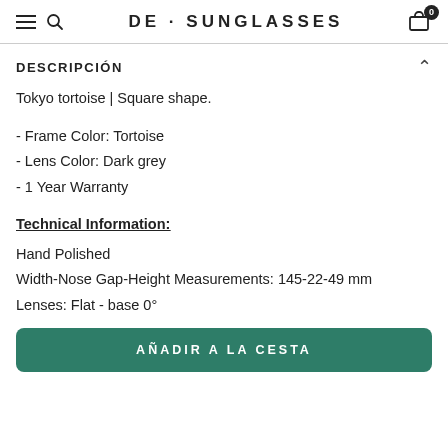DE · SUNGLASSES
DESCRIPCIÓN
Tokyo tortoise | Square shape.
- Frame Color: Tortoise
- Lens Color: Dark grey
- 1 Year Warranty
Technical Information:
Hand Polished
Width-Nose Gap-Height Measurements: 145-22-49 mm
Lenses: Flat - base 0°
AÑADIR A LA CESTA